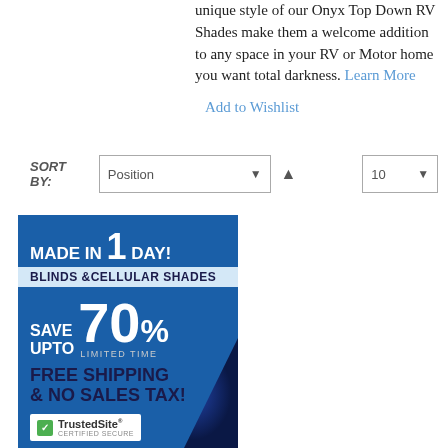unique style of our Onyx Top Down RV Shades make them a welcome addition to any space in your RV or Motor home you want total darkness. Learn More
Add to Wishlist
SORT BY: Position ↑ 10
[Figure (advertisement): Blue advertisement banner: MADE IN 1 DAY! BLINDS & CELLULAR SHADES. SAVE UPTO 70% LIMITED TIME. FREE SHIPPING & NO SALES TAX! TrustedSite CERTIFIED SECURE logo.]